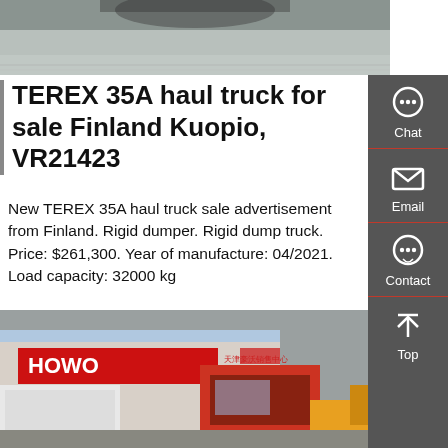[Figure (photo): Top partial photo of a truck or heavy vehicle on pavement, showing undercarriage/ground area]
TEREX 35A haul truck for sale Finland Kuopio, VR21423
New TEREX 35A haul truck sale advertisement from Finland. Rigid dumper. Rigid dump truck. Price: $261,300. Year of manufacture: 04/2021. Load capacity: 32000 kg
[Figure (other): Get a Quote red button]
[Figure (photo): Bottom photo showing HOWO truck dealership with red HOWO sign, white trucks and orange construction equipment in foreground]
[Figure (infographic): Right sidebar with chat, email, contact, and top navigation icons on dark grey background]